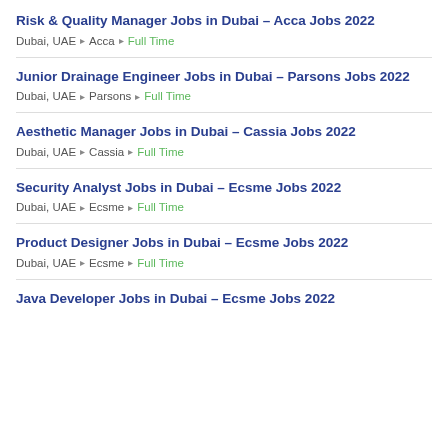Risk & Quality Manager Jobs in Dubai – Acca Jobs 2022
Dubai, UAE ▸ Acca ▸ Full Time
Junior Drainage Engineer Jobs in Dubai – Parsons Jobs 2022
Dubai, UAE ▸ Parsons ▸ Full Time
Aesthetic Manager Jobs in Dubai – Cassia Jobs 2022
Dubai, UAE ▸ Cassia ▸ Full Time
Security Analyst Jobs in Dubai – Ecsme Jobs 2022
Dubai, UAE ▸ Ecsme ▸ Full Time
Product Designer Jobs in Dubai – Ecsme Jobs 2022
Dubai, UAE ▸ Ecsme ▸ Full Time
Java Developer Jobs in Dubai – Ecsme Jobs 2022